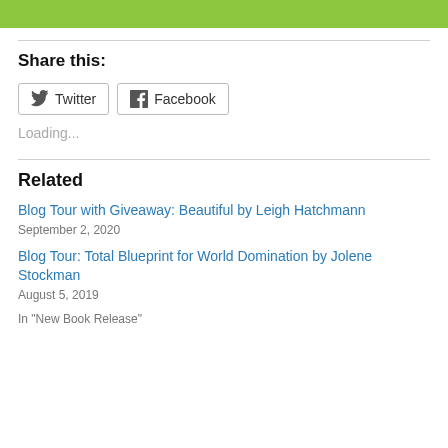[Figure (illustration): Green banner/image at top of page]
Share this:
Twitter  Facebook
Loading...
Related
Blog Tour with Giveaway: Beautiful by Leigh Hatchmann
September 2, 2020
Blog Tour: Total Blueprint for World Domination by Jolene Stockman
August 5, 2019
In "New Book Release"